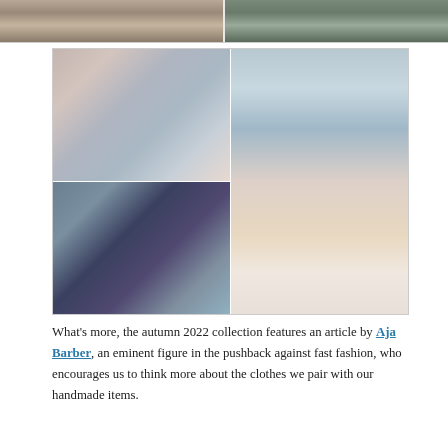[Figure (photo): Two partial photos at the top of the page showing people wearing handmade knitwear, cropped at the top]
[Figure (photo): A grid of three photos showing a Fair Isle / yoke-style knitted sweater: top-left shows the sweater laid flat on a pink surface with dried flowers, bottom-left shows a close-up of the colorwork yoke on a person's back, and right shows a smiling woman wearing the light blue sweater standing in front of a linen backdrop]
What's more, the autumn 2022 collection features an article by Aja Barber, an eminent figure in the pushback against fast fashion, who encourages us to think more about the clothes we pair with our handmade items.